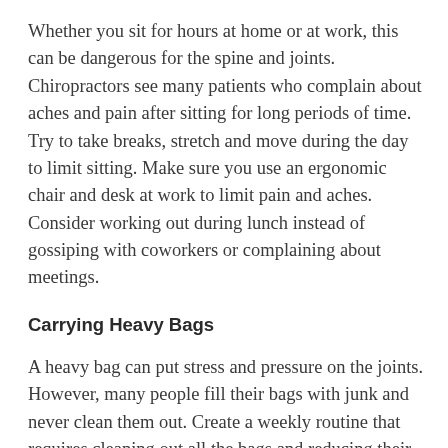Whether you sit for hours at home or at work, this can be dangerous for the spine and joints. Chiropractors see many patients who complain about aches and pain after sitting for long periods of time. Try to take breaks, stretch and move during the day to limit sitting. Make sure you use an ergonomic chair and desk at work to limit pain and aches. Consider working out during lunch instead of gossiping with coworkers or complaining about meetings.
Carrying Heavy Bags
A heavy bag can put stress and pressure on the joints. However, many people fill their bags with junk and never clean them out. Create a weekly routine that requires cleaning out all the bags and reducing their weight. Get rid of old receipts, partially eaten snacks